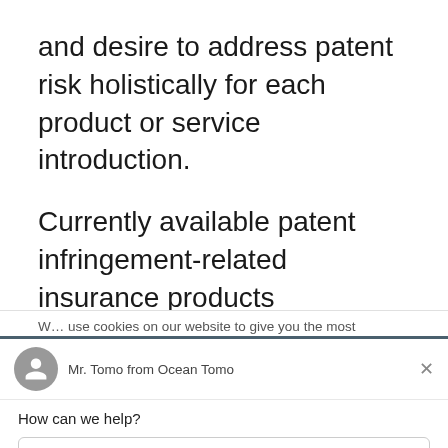and desire to address patent risk holistically for each product or service introduction.
Currently available patent infringement-related insurance products inadequately
We use cookies on our website to give you the most
[Figure (screenshot): Chat widget from Ocean Tomo (Drift), showing avatar, agent name 'Mr. Tomo from Ocean Tomo', close button, message 'How can we help?', reply input box labeled 'Reply to Mr. Tomo', and footer 'Chat ⚡ by Drift']